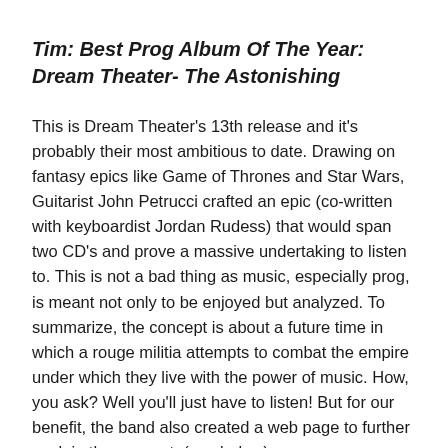Tim: Best Prog Album Of The Year: Dream Theater- The Astonishing
This is Dream Theater's 13th release and it's probably their most ambitious to date. Drawing on fantasy epics like Game of Thrones and Star Wars, Guitarist John Petrucci crafted an epic (co-written with keyboardist Jordan Rudess) that would span two CD's and prove a massive undertaking to listen to. This is not a bad thing as music, especially prog, is meant not only to be enjoyed but analyzed. To summarize, the concept is about a future time in which a rouge militia attempts to combat the empire under which they live with the power of music. How, you ask? Well you'll just have to listen! But for our benefit, the band also created a web page to further explain the concept. (see below)
As for the music, this is clearly their most unusual album